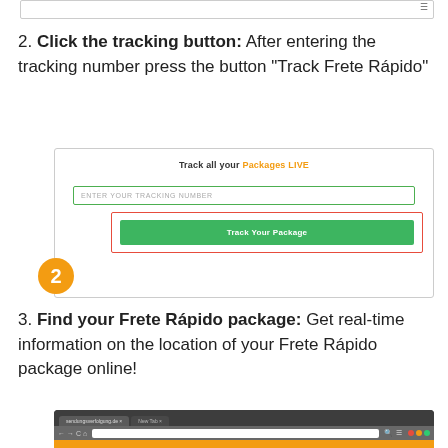[Figure (screenshot): Top portion of a previous UI screenshot (partially shown at top of page)]
2. Click the tracking button: After entering the tracking number press the button “Track Frete Rápido”
[Figure (screenshot): Screenshot of a package tracking website UI showing 'Track all your Packages LIVE' header, an input field labeled 'ENTER YOUR TRACKING NUMBER', and a green 'Track Your Package' button. An orange badge with number 2 points to the button area highlighted with a red border.]
3. Find your Frete Rápido package: Get real-time information on the location of your Frete Rápido package online!
[Figure (screenshot): Partial screenshot of a browser window showing a dark browser chrome with tabs and an orange bar at the bottom.]